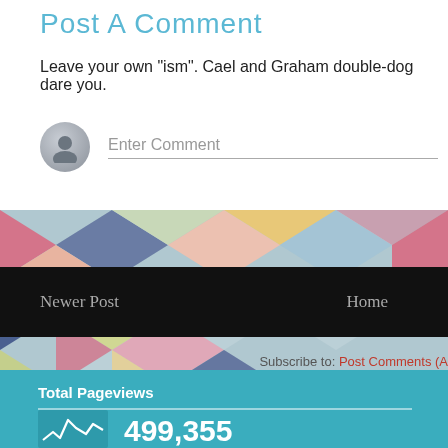Post A Comment
Leave your own "ism". Cael and Graham double-dog dare you.
Enter Comment
Newer Post
Home
Subscribe to: Post Comments (A
Total Pageviews
499,355